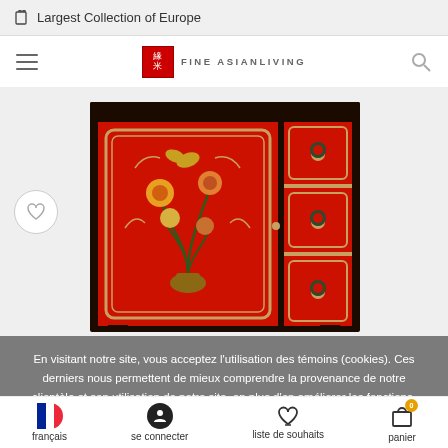Largest Collection of Europe
[Figure (screenshot): Fine Asian Living website navigation bar with hamburger menu, red logo box with Chinese characters, brand name FINE ASIANLIVING, and search icon]
[Figure (photo): Ornate Chinese cabinet with black frame and red lacquered panels decorated with floral motifs in gold, green, and blue. Features one large door on the left and three drawers on the right side.]
En visitant notre site, vous acceptez l'utilisation des témoins (cookies). Ces derniers nous permettent de mieux comprendre la provenance de notre clientèle et son utilisation de notre site, en plus d'en améliorer les fonctions.
Masquer ce message
En savoir plus sur les témoins (cookies) »
français   se connecter   liste de souhaits   panier